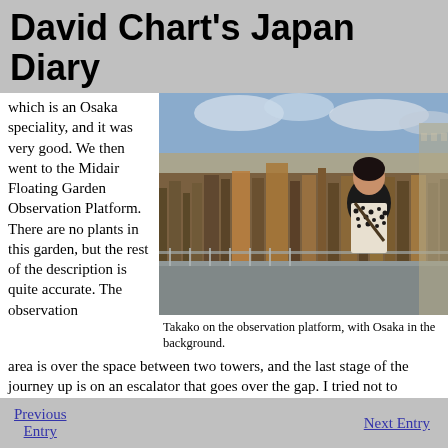David Chart's Japan Diary
which is an Osaka speciality, and it was very good. We then went to the Midair Floating Garden Observation Platform. There are no plants in this garden, but the rest of the description is quite accurate. The observation area is over the space between two towers, and the last stage of the journey up is on an escalator that goes over the gap. I tried not to
[Figure (photo): Takako standing on the observation platform with the city of Osaka in the background, daytime skyline view]
Takako on the observation platform, with Osaka in the background.
Previous Entry | Next Entry | My Home Page | My Books | Japan Pages Index | Japan Diary Index | My School's Homepage